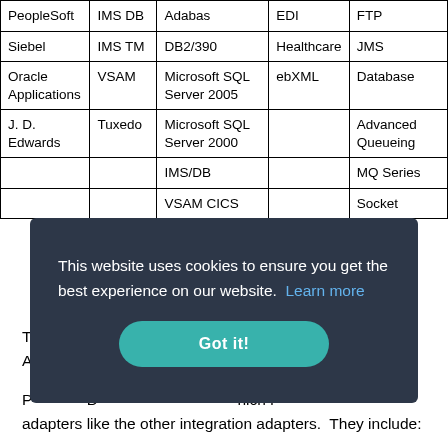| PeopleSoft | IMS DB | Adabas | EDI | FTP |
| Siebel | IMS TM | DB2/390 | Healthcare | JMS |
| Oracle Applications | VSAM | Microsoft SQL Server 2005 | ebXML | Database |
| J. D. Edwards | Tuxedo | Microsoft SQL Server 2000 |  | Advanced Queueing |
|  |  | IMS/DB |  | MQ Series |
|  |  | VSAM CICS |  | Socket |
Technology adapters are included in the Oracle Internet A... which t... a...
P... D... which i... adapters like the other integration adapters. They include: